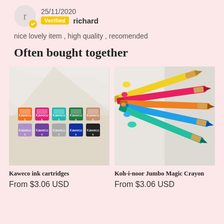25/11/2020
Verified richard
nice lovely item , high quality , recomended
Often bought together
[Figure (photo): Photo of Kaweco ink cartridges in multiple colors arranged in two rows on a marble and mesh surface]
Kaweco ink cartridges
From $3.06 USD
[Figure (photo): Photo of Koh-i-noor Jumbo Magic Crayon colored pencils fanned out on a marble surface]
Koh-i-noor Jumbo Magic Crayon
From $3.06 USD